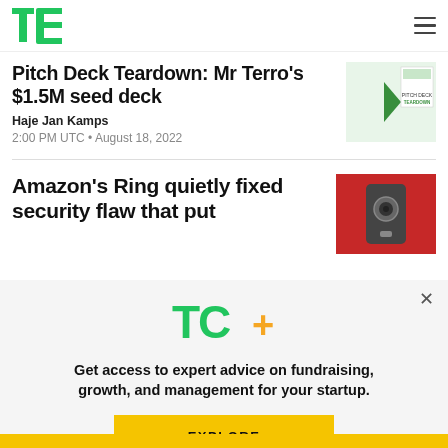TechCrunch
Pitch Deck Teardown: Mr Terro's $1.5M seed deck
Haje Jan Kamps
2:00 PM UTC • August 18, 2022
Amazon's Ring quietly fixed security flaw that put
[Figure (logo): TC+ logo with green TC and orange plus sign]
Get access to expert advice on fundraising, growth, and management for your startup.
EXPLORE NOW